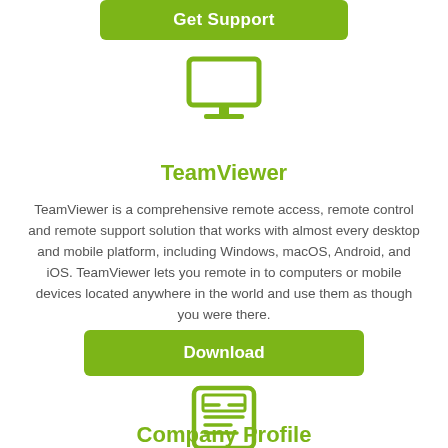Get Support
[Figure (illustration): Green monitor/desktop computer icon]
TeamViewer
TeamViewer is a comprehensive remote access, remote control and remote support solution that works with almost every desktop and mobile platform, including Windows, macOS, Android, and iOS. TeamViewer lets you remote in to computers or mobile devices located anywhere in the world and use them as though you were there.
Download
[Figure (illustration): Green document/profile card icon]
Company Profile